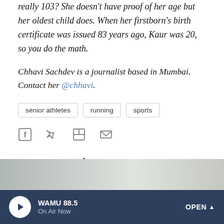really 103? She doesn't have proof of her age but her oldest child does. When her firstborn's birth certificate was issued 83 years ago, Kaur was 20, so you do the math.
Chhavi Sachdev is a journalist based in Mumbai. Contact her @chhavi.
senior athletes
running
sports
[Figure (other): Social sharing icons: Facebook, Twitter, Flipboard, Email]
More Stories From NPR
[Figure (photo): Partial photo strip at bottom of page]
[Figure (other): WAMU 88.5 radio player bar at bottom: On Air Now, OPEN button with caret]